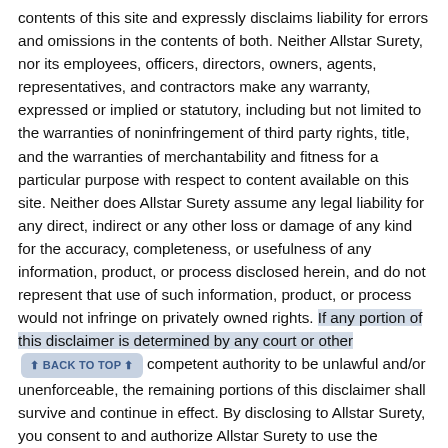contents of this site and expressly disclaims liability for errors and omissions in the contents of both. Neither Allstar Surety, nor its employees, officers, directors, owners, agents, representatives, and contractors make any warranty, expressed or implied or statutory, including but not limited to the warranties of noninfringement of third party rights, title, and the warranties of merchantability and fitness for a particular purpose with respect to content available on this site. Neither does Allstar Surety assume any legal liability for any direct, indirect or any other loss or damage of any kind for the accuracy, completeness, or usefulness of any information, product, or process disclosed herein, and do not represent that use of such information, product, or process would not infringe on privately owned rights. If any portion of this disclaimer is determined by any court or other competent authority to be unlawful and/or unenforceable, the remaining portions of this disclaimer shall survive and continue in effect. By disclosing to Allstar Surety, you consent to and authorize Allstar Surety to use the voluntarily-provided personal information you provided to contact you via phone, fax, e-mail, or regular mail to provide you with information that Allstar Surety believes may be of interest to you. If you wish to opt-out of receiving such